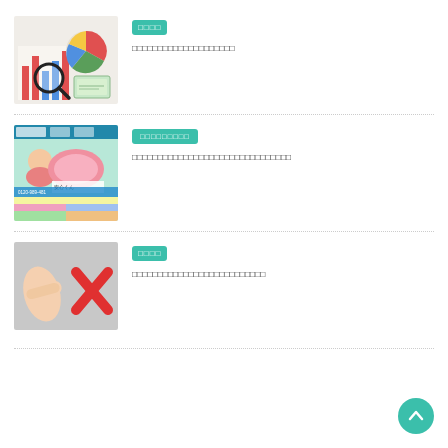[Figure (photo): Photo of financial charts, pie chart, magnifying glass, and money on a desk]
□□□□
□□□□□□□□□□□□□□□□□□□□
[Figure (photo): Advertisement image showing a pink pillow product '安心くん' with phone number 0120-989-481 and colorful promotional content]
□□□□□□□□□
□□□□□□□□□□□□□□□□□□□□□□□□□□□□□□□
[Figure (photo): Hand pointing finger at a red X mark on grey background]
□□□□
□□□□□□□□□□□□□□□□□□□□□□□□□□